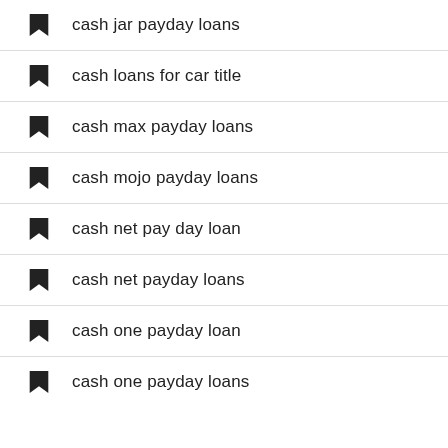cash jar payday loans
cash loans for car title
cash max payday loans
cash mojo payday loans
cash net pay day loan
cash net payday loans
cash one payday loan
cash one payday loans